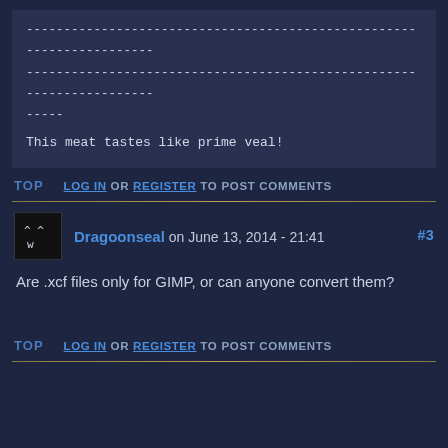---------------------------------------------------------------------
---------------------------------------------------------------------
-----
This meat tastes like prime veal!
TOP   LOG IN OR REGISTER TO POST COMMENTS
Dragoonseal on June 13, 2014 - 21:41  #3
Are .xcf files only for GIMP, or can anyone convert them?
TOP   LOG IN OR REGISTER TO POST COMMENTS